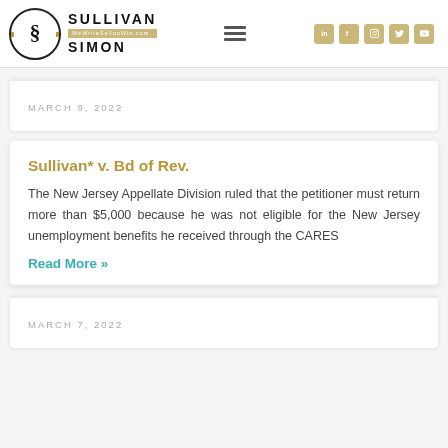[Figure (logo): Sullivan Simon law firm logo with circular S symbol and tagline WeWriteSoYouWin.com]
MARCH 9, 2022
Sullivan* v. Bd of Rev.
The New Jersey Appellate Division ruled that the petitioner must return more than $5,000 because he was not eligible for the New Jersey unemployment benefits he received through the CARES
Read More »
MARCH 7, 2022